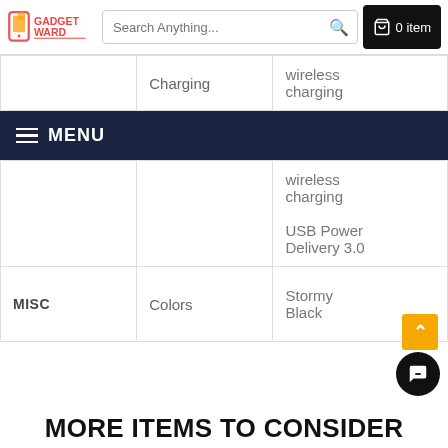Gadget Ward — Search Anything... 0 item
|  | Charging | wireless charging |
| --- | --- | --- |
|  |  | wireless charging
USB Power Delivery 3.0 |
| MISC | Colors | Stormy Black |
MENU
MORE ITEMS TO CONSIDER